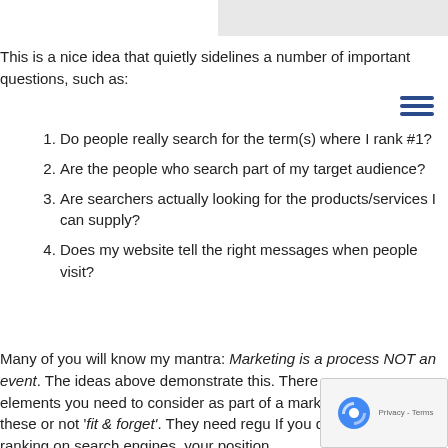This is a nice idea that quietly sidelines a number of important questions, such as:
Do people really search for the term(s) where I rank #1?
Are the people who search part of my target audience?
Are searchers actually looking for the products/services I can supply?
Does my website tell the right messages when people visit?
Many of you will know my mantra: Marketing is a process NOT an event. The ideas above demonstrate this. There are many elements you need to consider as part of a marketing and most of these or not 'fit & forget'. They need regu If you do achieve high ranking on search engines, your position